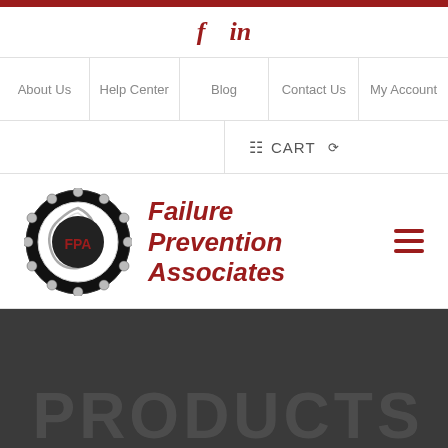[Figure (logo): Social media icons: f (Facebook) and in (LinkedIn) in red/dark red]
About Us | Help Center | Blog | Contact Us | My Account
CART
[Figure (logo): Failure Prevention Associates logo: circular bearing graphic with FPA text, alongside bold italic red text reading Failure Prevention Associates]
PRODUCTS